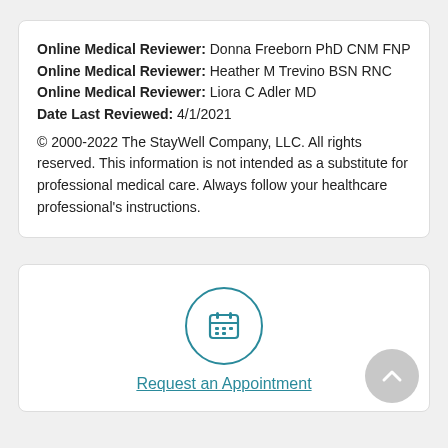Online Medical Reviewer: Donna Freeborn PhD CNM FNP
Online Medical Reviewer: Heather M Trevino BSN RNC
Online Medical Reviewer: Liora C Adler MD
Date Last Reviewed: 4/1/2021
© 2000-2022 The StayWell Company, LLC. All rights reserved. This information is not intended as a substitute for professional medical care. Always follow your healthcare professional's instructions.
[Figure (illustration): Teal circle with calendar icon inside, representing Request an Appointment button]
Request an Appointment